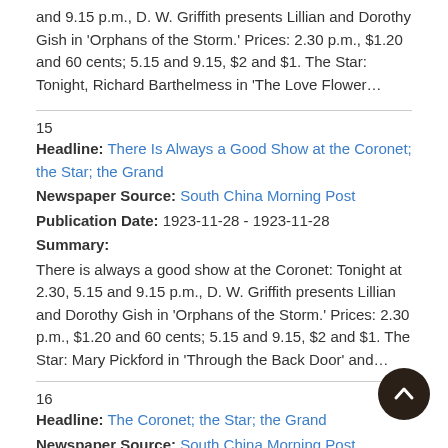and 9.15 p.m., D. W. Griffith presents Lillian and Dorothy Gish in 'Orphans of the Storm.' Prices: 2.30 p.m., $1.20 and 60 cents; 5.15 and 9.15, $2 and $1. The Star: Tonight, Richard Barthelmess in 'The Love Flower…
15
Headline: There Is Always a Good Show at the Coronet; the Star; the Grand
Newspaper Source: South China Morning Post
Publication Date: 1923-11-28 - 1923-11-28
Summary:
There is always a good show at the Coronet: Tonight at 2.30, 5.15 and 9.15 p.m., D. W. Griffith presents Lillian and Dorothy Gish in 'Orphans of the Storm.' Prices: 2.30 p.m., $1.20 and 60 cents; 5.15 and 9.15, $2 and $1. The Star: Mary Pickford in 'Through the Back Door' and…
16
Headline: The Coronet; the Star; the Grand
Newspaper Source: South China Morning Post
Publication Date: 1923-10-07 - 1923-10-07